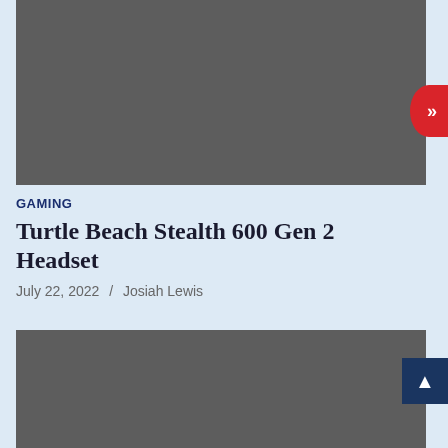[Figure (photo): Top image placeholder - dark gray rectangle]
GAMING
Turtle Beach Stealth 600 Gen 2 Headset
July 22, 2022 / Josiah Lewis
[Figure (photo): Bottom image placeholder - dark gray rectangle]